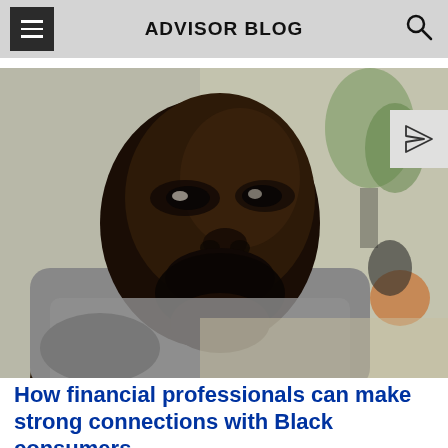ADVISOR BLOG
[Figure (photo): Close-up portrait of a Black man with a beard wearing a gray sweater, looking thoughtful, with a blurred indoor background featuring a plant.]
How financial professionals can make strong connections with Black consumers